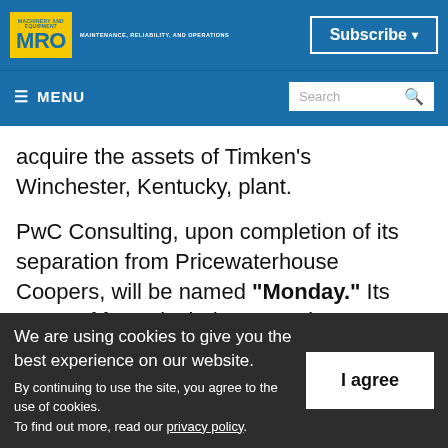MRO — MAINTENANCE, RELIABILITY, AND OPERATIONS | Subscribe | MENU | Search
acquire the assets of Timken's Winchester, Kentucky, plant.
PwC Consulting, upon completion of its separation from Pricewaterhouse Coopers, will be named "Monday." Its areas of focus include Enterprise Resource Planning (ERP), supply
We are using cookies to give you the best experience on our website. By continuing to use the site, you agree to the use of cookies. To find out more, read our privacy policy.